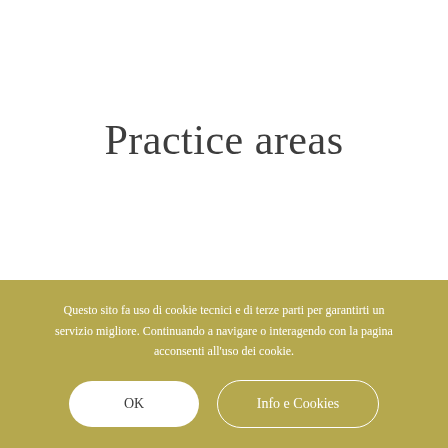Practice areas
Questo sito fa uso di cookie tecnici e di terze parti per garantirti un servizio migliore. Continuando a navigare o interagendo con la pagina acconsenti all'uso dei cookie.
OK
Info e Cookies